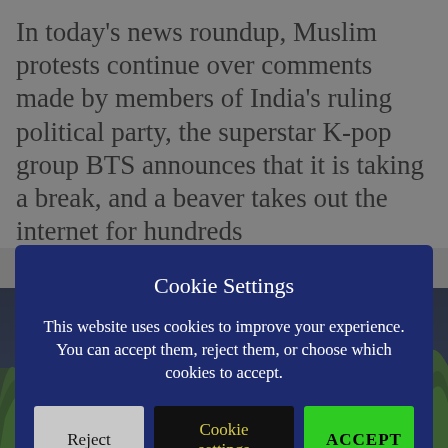In today's news roundup, Muslim protests continue over comments made by members of India's ruling political party, the superstar K-pop group BTS announces that it is taking a break, and a beaver takes out the internet for hundreds
[Figure (photo): Close-up photo of green grass or crop field at night with dark blue-green tones]
Cookie Settings
This website uses cookies to improve your experience. You can accept them, reject them, or choose which cookies to accept.